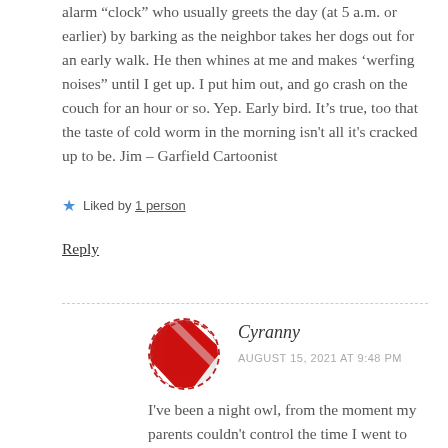alarm “clock” who usually greets the day (at 5 a.m. or earlier) by barking as the neighbor takes her dogs out for an early walk. He then whines at me and makes ‘werfing noises” until I get up. I put him out, and go crash on the couch for an hour or so. Yep. Early bird. It’s true, too that the taste of cold worm in the morning isn't all it's cracked up to be. Jim – Garfield Cartoonist
★ Liked by 1 person
Reply
Cyranny
AUGUST 15, 2021 AT 9:48 PM
I've been a night owl, from the moment my parents couldn't control the time I went to bed anymore 😃 But working a day shift now, I have to be both which can be a